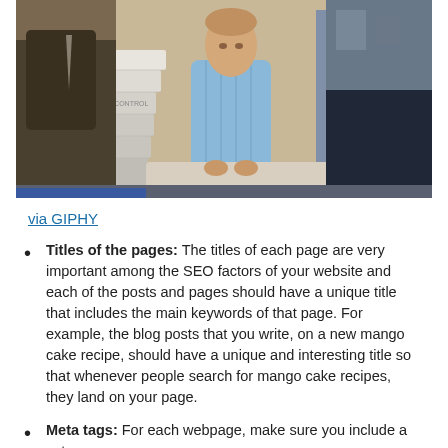[Figure (photo): A vintage/retro scene photograph showing people in an office or workspace setting. A man in a light blue striped shirt is visible in the center behind what appears to be a large white stepped or tiered object. Another figure in a dark suit is partially visible on the left, and a dark-haired person is in the foreground on the right.]
via GIPHY
Titles of the pages: The titles of each page are very important among the SEO factors of your website and each of the posts and pages should have a unique title that includes the main keywords of that page. For example, the blog posts that you write, on a new mango cake recipe, should have a unique and interesting title so that whenever people search for mango cake recipes, they land on your page.
Meta tags: For each webpage, make sure you include a set